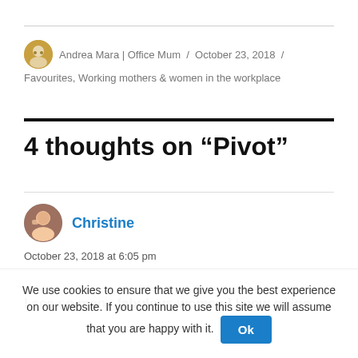Andrea Mara | Office Mum / October 23, 2018 / Favourites, Working mothers & women in the workplace
4 thoughts on “Pivot”
Christine
October 23, 2018 at 6:05 pm
I see so many fabulous women I know going
We use cookies to ensure that we give you the best experience on our website. If you continue to use this site we will assume that you are happy with it. Ok